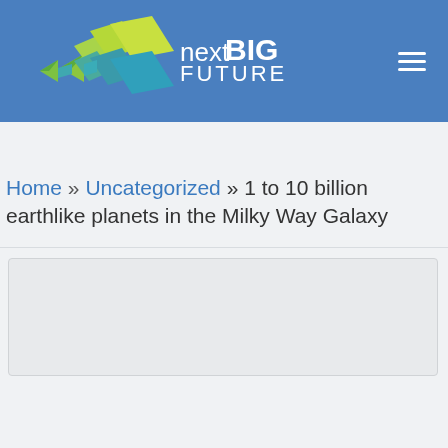nextBIG FUTURE
Home » Uncategorized » 1 to 10 billion earthlike planets in the Milky Way Galaxy
[Figure (other): Advertisement placeholder box]